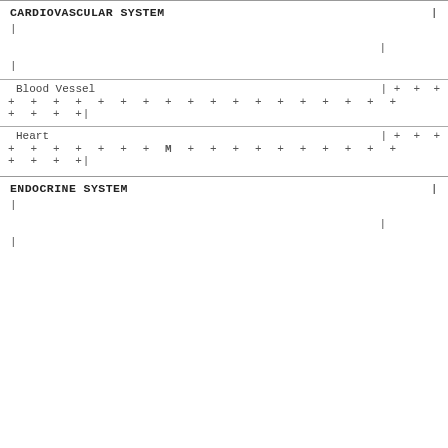CARDIOVASCULAR SYSTEM
| (pipe characters and blank lines)
| Blood Vessel | | + + + |
| --- | --- |
| + + + + + + + + + + + + + + + + + + |  |
| + + + + +| |  |
| Heart | | + + + |
| --- | --- |
| + + + + + + + M + + + + + + + + + + |  |
| + + + + +| |  |
ENDOCRINE SYSTEM
| (pipe characters and blank lines)